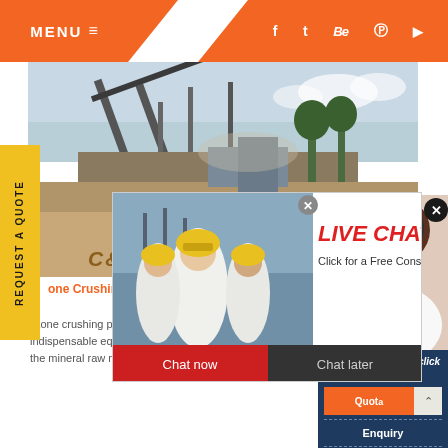MENU  ≡
[Figure (screenshot): Website screenshot showing a mining/stone crushing plant equipment company page. Orange header with MENU button and social icons. Hero image shows industrial conveyor belt machinery at a quarry site.]
[Figure (screenshot): Live Chat popup overlay showing construction workers with yellow helmets, red LIVE CHAT title, 'Click for a Free Consultation' subtitle, and Chat now / Chat later buttons]
[Figure (photo): Customer service representative woman wearing headset, smiling]
REQUEST A QUOTE
C&M Mac
one Crushing Plant, Stone Crushing Plant P
Stone crushing plant is the mining industry and industry indispensable equipment. It processes a sifter processes the mineral raw materials t
Have any requests, click here.
Quota
Enquiry
drobilkalm